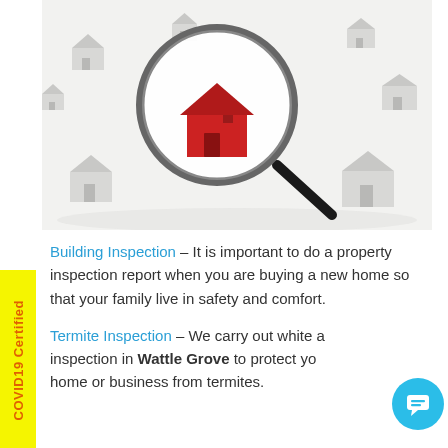[Figure (illustration): Magnifying glass highlighting a red house among many small grey houses on a white surface]
Building Inspection – It is important to do a property inspection report when you are buying a new home so that your family live in safety and comfort.
Termite Inspection – We carry out white ant inspection in Wattle Grove to protect your home or business from termites.